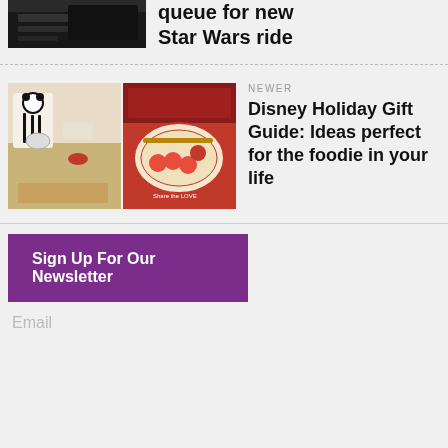[Figure (photo): Dark background image related to Star Wars ride]
queue for new Star Wars ride
NEWER
[Figure (photo): Two Disney holiday kitchen/food items photos side by side - left shows Mickey-themed kitchen tools, right shows holiday themed dishes with food]
Disney Holiday Gift Guide: Ideas perfect for the foodie in your life
Sign Up For Our Newsletter
Email